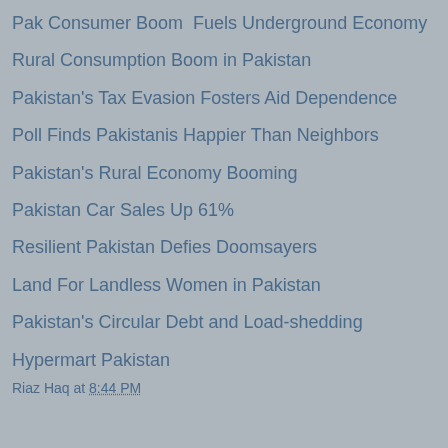Pak Consumer Boom  Fuels Underground Economy
Rural Consumption Boom in Pakistan
Pakistan's Tax Evasion Fosters Aid Dependence
Poll Finds Pakistanis Happier Than Neighbors
Pakistan's Rural Economy Booming
Pakistan Car Sales Up 61%
Resilient Pakistan Defies Doomsayers
Land For Landless Women in Pakistan
Pakistan's Circular Debt and Load-shedding
Hypermart Pakistan
Riaz Haq at 8:44 PM